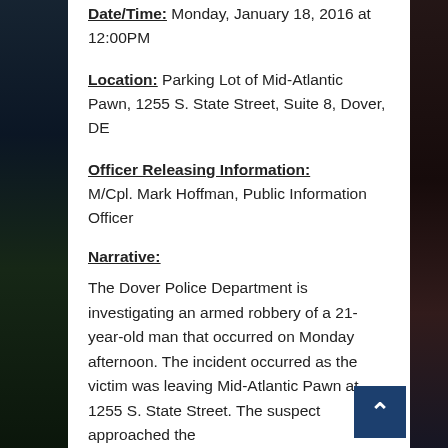Date/Time: Monday, January 18, 2016 at 12:00PM
Location: Parking Lot of Mid-Atlantic Pawn, 1255 S. State Street, Suite 8, Dover, DE
Officer Releasing Information: M/Cpl. Mark Hoffman, Public Information Officer
Narrative:
The Dover Police Department is investigating an armed robbery of a 21-year-old man that occurred on Monday afternoon.  The incident occurred as the victim was leaving Mid-Atlantic Pawn at 1255 S. State Street.  The suspect approached the